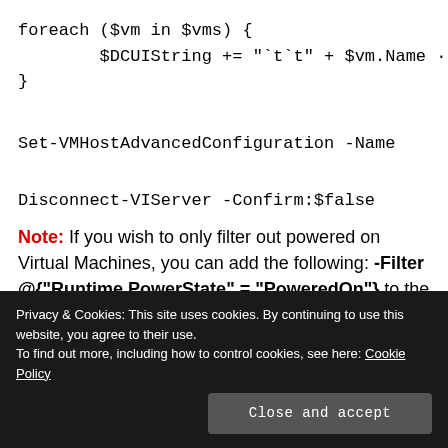foreach ($vm in $vms) {
        $DCUIString += "`t`t" + $vm.Name ·
}
Set-VMHostAdvancedConfiguration -Name
Disconnect-VIServer -Confirm:$false
Note: If you wish to only filter out powered on Virtual Machines, you can add the following: -Filter @{"Runtime.PowerState" = "PoweredOn"} to the end of the Get-View command.
Privacy & Cookies: This site uses cookies. By continuing to use this website, you agree to their use.
To find out more, including how to control cookies, see here: Cookie Policy
Close and accept